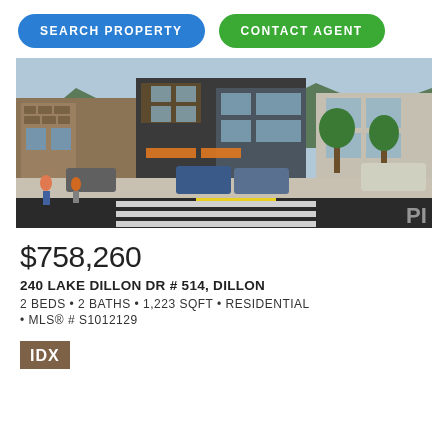SEARCH PROPERTY
CONTACT AGENT
[Figure (photo): Exterior rendering of a modern mixed-use residential building with stone and wood facade, pedestrian area, crosswalk, parked cars, and people walking]
$758,260
240 LAKE DILLON DR # 514, DILLON
2 BEDS • 2 BATHS • 1,223 SQFT • RESIDENTIAL
• MLS® # S1012129
[Figure (logo): IDX logo — white letters on brown background]